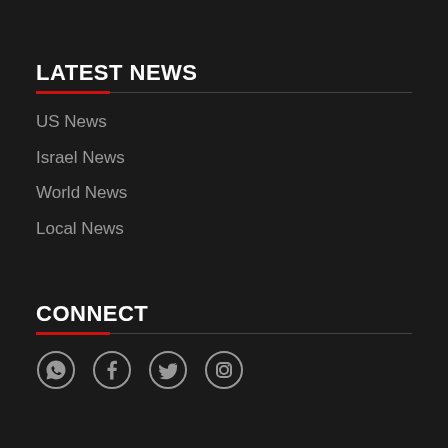LATEST NEWS
US News
Israel News
World News
Local News
CONNECT
[Figure (infographic): Social media icons: WhatsApp, Facebook, Twitter, Instagram]
CONTACT